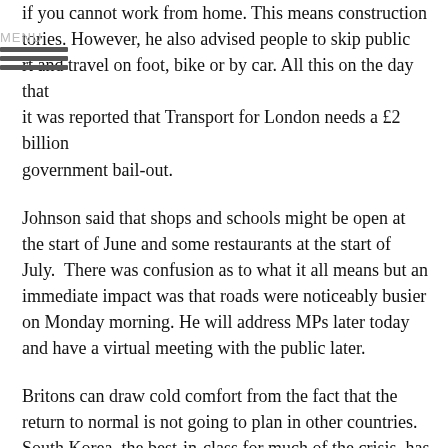if you cannot work from home. This means construction factories. However, he also advised people to skip public rt and travel on foot, bike or by car. All this on the day that it was reported that Transport for London needs a £2 billion government bail-out.
Johnson said that shops and schools might be open at the start of June and some restaurants at the start of July. There was confusion as to what it all means but an immediate impact was that roads were noticeably busier on Monday morning. He will address MPs later today and have a virtual meeting with the public later.
Britons can draw cold comfort from the fact that the return to normal is not going to plan in other countries. South Korea, the best-in-class for much of the crisis, has reported clusters of cases in Seoul and has closed bars and restaurants again. Germany, which had eased restrictions, reports that the reproduction rate of the virus is rising again while China reported some new clusters.
Asian stock markets closed a little higher on Monday, encouraged by the general back-to-work trends with Tokyo at its highest level in